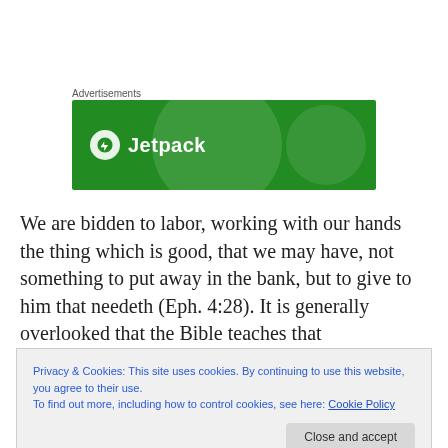Advertisements
[Figure (logo): Jetpack advertisement banner — green background with large translucent circle, Jetpack logo (white lightning bolt in white circle) and 'Jetpack' text in white]
We are bidden to labor, working with our hands the thing which is good, that we may have, not something to put away in the bank, but to give to him that needeth (Eph. 4:28). It is generally overlooked that the Bible teaches that
Privacy & Cookies: This site uses cookies. By continuing to use this website, you agree to their use.
To find out more, including how to control cookies, see here: Cookie Policy
Close and accept
But our Lord goes even further. He plainly declares (Luk…